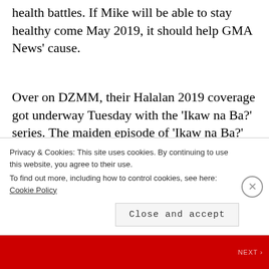health battles. If Mike will be able to stay healthy come May 2019, it should help GMA News’ cause.
Over on DZMM, their Halalan 2019 coverage got underway Tuesday with the ‘Ikaw na Ba?’ series. The maiden episode of ‘Ikaw na Ba?’ featured senatorial aspirants Samira Gutoc, Sergio Osmeña III and Juan Ponce Enrile in a question-and-
Privacy & Cookies: This site uses cookies. By continuing to use this website, you agree to their use.
To find out more, including how to control cookies, see here: Cookie Policy